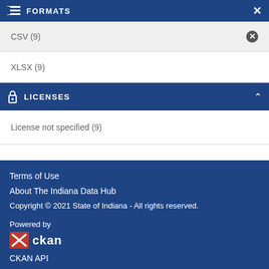FORMATS
CSV (9)
XLSX (9)
LICENSES
License not specified (9)
Terms of Use
About The Indiana Data Hub
Copyright © 2021 State of Indiana - All rights reserved.
Powered by
[Figure (logo): CKAN logo with X icon and 'ckan' text]
CKAN API